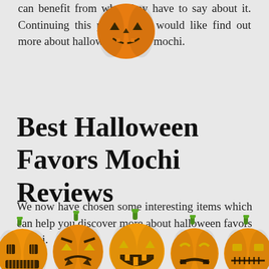can benefit from what they have to say about it. Continue reading this post if you would like to find out more about halloween favors mochi.
[Figure (illustration): Jack-o-lantern pumpkin emoji/illustration overlaid on the text at top]
Best Halloween Favors Mochi Reviews
We now have chosen some interesting items which can help you discover more about halloween favors mochi.
[Figure (illustration): Row of five carved Halloween jack-o-lantern pumpkins with different face expressions along the bottom of the page]